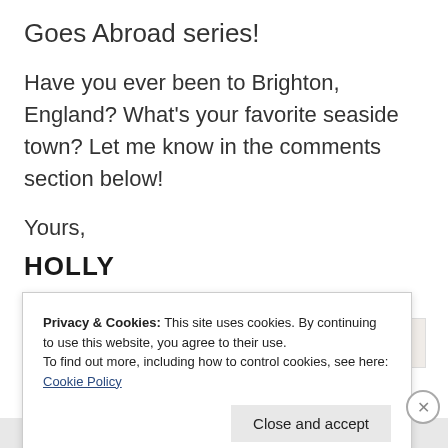Goes Abroad series!
Have you ever been to Brighton, England? What's your favorite seaside town? Let me know in the comments section below!
Yours,
HOLLY
Advertisements
Privacy & Cookies: This site uses cookies. By continuing to use this website, you agree to their use.
To find out more, including how to control cookies, see here: Cookie Policy